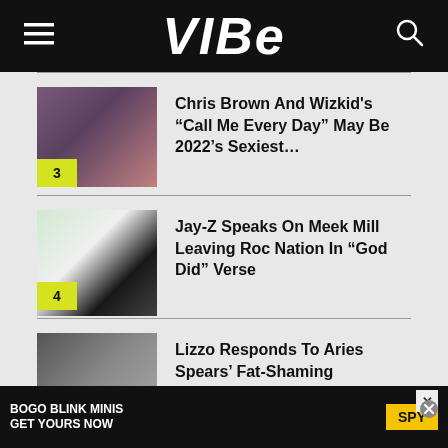VIBE
3 — Chris Brown And Wizkid's “Call Me Every Day” May Be 2022’s Sexiest…
4 — Jay-Z Speaks On Meek Mill Leaving Roc Nation In “God Did” Verse
5 — Lizzo Responds To Aries Spears’ Fat-Shaming Comments: “I’m Winning…
[Figure (infographic): BOGO BLINK MINIS GET YOURS NOW SPY advertisement banner]